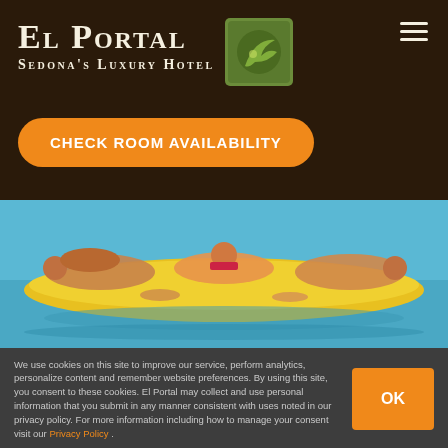El Portal Sedona's Luxury Hotel
CHECK ROOM AVAILABILITY
[Figure (photo): People lying on yellow inflatable raft in a pool/water, viewed from above]
We use cookies on this site to improve our service, perform analytics, personalize content and remember website preferences. By using this site, you consent to these cookies. El Portal may collect and use personal information that you submit in any manner consistent with uses noted in our privacy policy. For more information including how to manage your consent visit our Privacy Policy .